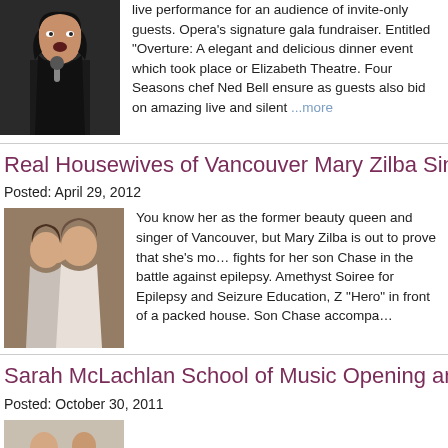[Figure (photo): Woman singing into microphone, dark background]
live performance for an audience of invite-only guests. Opera's signature gala fundraiser. Entitled "Overture: A elegant and delicious dinner event which took place on Elizabeth Theatre. Four Seasons chef Ned Bell ensure as guests also bid on amazing live and silent ...more
Real Housewives of Vancouver Mary Zilba Sings “Hero”
Posted: April 29, 2012
[Figure (photo): Couple embracing, man kissing woman on cheek]
You know her as the former beauty queen and singer of Vancouver, but Mary Zilba is out to prove that she's more fights for her son Chase in the battle against epilepsy. Amethyst Soiree for Epilepsy and Seizure Education, Z "Hero" in front of a packed house. Son Chase accompa…
Sarah McLachlan School of Music Opening and Glowb Blue Steak House Party
Posted: October 30, 2011
[Figure (photo): Partially visible photo at bottom of page]